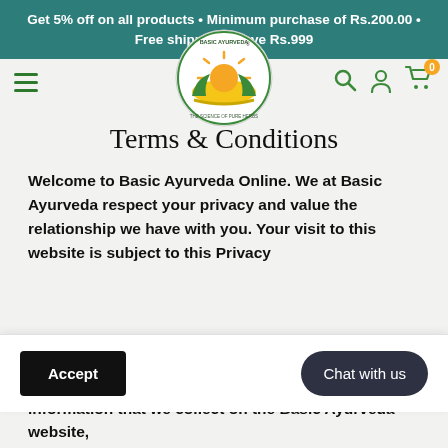Get 5% off on all products • Minimum purchase of Rs.200.00 • Free shipping above Rs.999
[Figure (logo): Basic Ayurveda circular logo with sun, hands, and text 'The Science of Pure Herbs']
Terms & Conditions
Welcome to Basic Ayurveda Online. We at Basic Ayurveda respect your privacy and value the relationship we have with you. Your visit to this website is subject to this Privacy information that we collect on the Basic Ayurveda website,